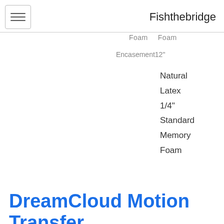Fishthebridge
Foam  Foam
Encasement 12"
Natural
Latex
1/4"
Standard
Memory
Foam
DreamCloud Motion Transfer